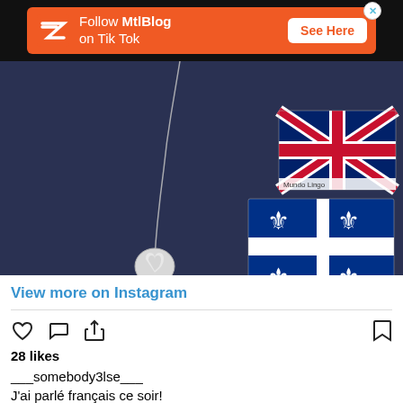[Figure (screenshot): Orange advertisement banner for MtlBlog TikTok with MtlBlog logo, text 'Follow MtlBlog on Tik Tok', and 'See Here' button on black background]
[Figure (photo): Close-up photo of a person wearing a dark navy blue top with a heart-shaped necklace and two flag stickers/badges: a UK Union Jack flag and a Quebec fleur-de-lis flag. Text 'Mundo Lingo' appears on the stickers.]
View more on Instagram
28 likes
___somebody3lse___
J'ai parlé français ce soir!
#apprendrefrancais #montréal #mundolingomontreal